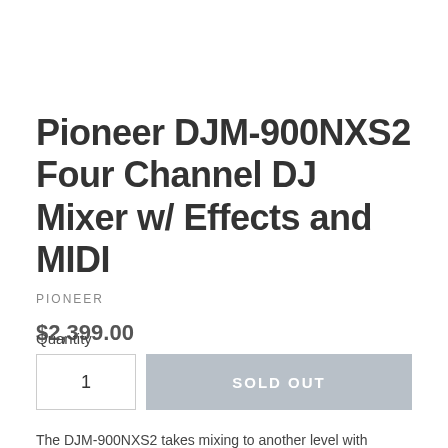Pioneer DJM-900NXS2 Four Channel DJ Mixer w/ Effects and MIDI
PIONEER
$2,399.00
Quantity
1
SOLD OUT
The DJM-900NXS2 takes mixing to another level with Pioneer's first ever 64-bit mixing processor for a more natural, warm and detailed sound. The controls are even more responsive, with a new gain